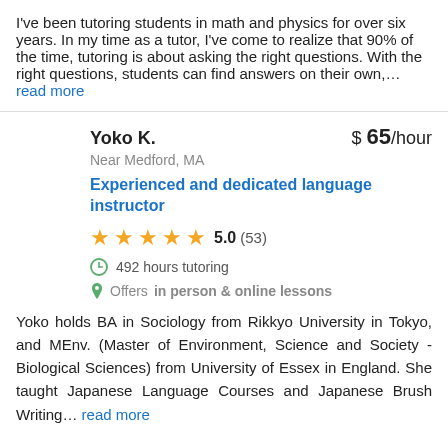I've been tutoring students in math and physics for over six years. In my time as a tutor, I've come to realize that 90% of the time, tutoring is about asking the right questions. With the right questions, students can find answers on their own,… read more
Yoko K. | $65/hour | Near Medford, MA | Experienced and dedicated language instructor | 5.0 (53) | 492 hours tutoring | Offers in person & online lessons
Yoko holds BA in Sociology from Rikkyo University in Tokyo, and MEnv. (Master of Environment, Science and Society - Biological Sciences) from University of Essex in England. She taught Japanese Language Courses and Japanese Brush Writing… read more